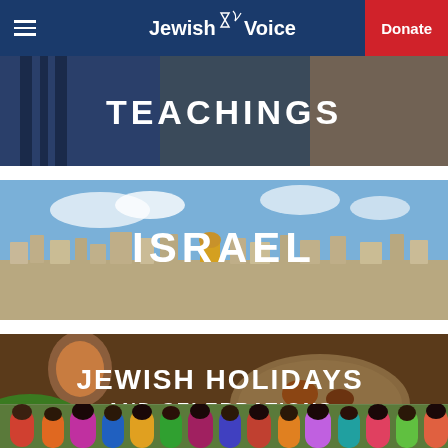Jewish Voice | Donate
[Figure (photo): TEACHINGS banner with blue and grey tones, prayer shawl]
[Figure (photo): ISRAEL banner with Jerusalem cityscape and blue sky]
[Figure (photo): JEWISH HOLIDAYS AND CELEBRATIONS banner with Seder plate food]
[Figure (photo): Partial banner at bottom showing people in colorful clothing]